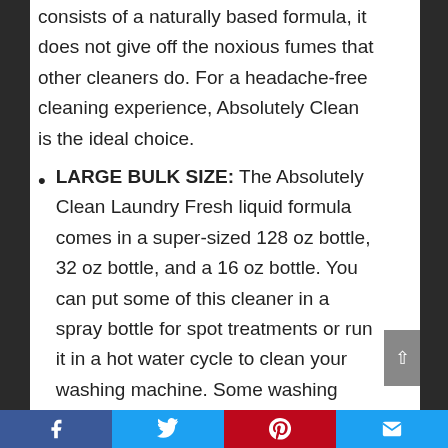consists of a naturally based formula, it does not give off the noxious fumes that other cleaners do. For a headache-free cleaning experience, Absolutely Clean is the ideal choice.
LARGE BULK SIZE: The Absolutely Clean Laundry Fresh liquid formula comes in a super-sized 128 oz bottle, 32 oz bottle, and a 16 oz bottle. You can put some of this cleaner in a spray bottle for spot treatments or run it in a hot water cycle to clean your washing machine. Some washing machines
Facebook | Twitter | Pinterest | Email